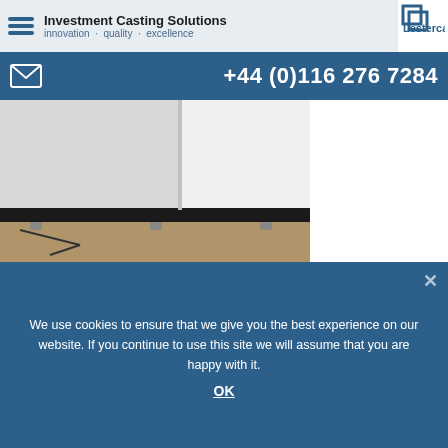Investment Casting Solutions · innovation · quality · excellence
+44 (0)116 276 7284
[Figure (photo): Close-up photo of the base of a white industrial machine or cabinet sitting on a concrete floor, showing metal feet/levelers]
[Figure (photo): Close-up photo of the corner/edge of a white industrial machine or cabinet showing smooth white panels meeting at a right angle, with a partial blue logo/text visible at the bottom]
We use cookies to ensure that we give you the best experience on our website. If you continue to use this site we will assume that you are happy with it.
OK